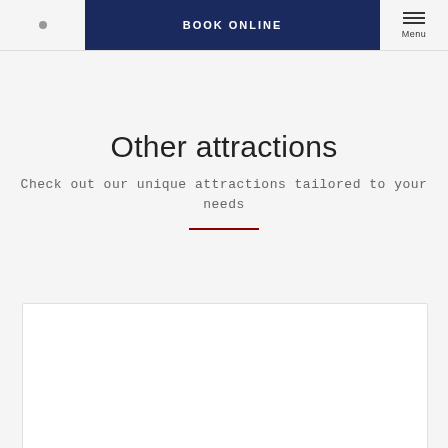BOOK ONLINE | Menu
Other attractions
Check out our unique attractions tailored to your needs
[Figure (other): Dark red horizontal divider line]
[Figure (other): White card/panel container at the bottom of the page]